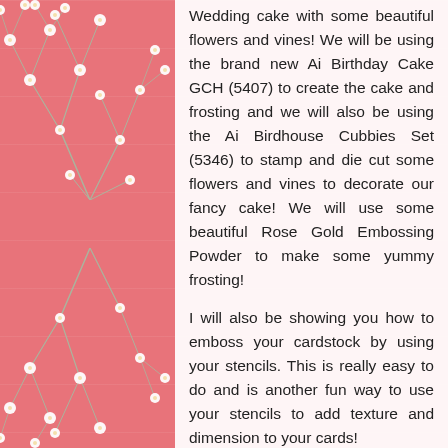[Figure (photo): Pink wooden plank background with white baby's breath flowers decorating the left side top and bottom corners]
Wedding cake with some beautiful flowers and vines! We will be using the brand new Ai Birthday Cake GCH (5407) to create the cake and frosting and we will also be using the Ai Birdhouse Cubbies Set (5346) to stamp and die cut some flowers and vines to decorate our fancy cake! We will use some beautiful Rose Gold Embossing Powder to make some yummy frosting!
I will also be showing you how to emboss your cardstock by using your stencils. This is really easy to do and is another fun way to use your stencils to add texture and dimension to your cards!
This Birthday Cake GCH set is designed to work with the Envelope GCH Die set to create and little gift card holder pocket/envelope. Just a reminder that these sets will need to be purchased separately and there are several cute die sets that coordinate with this Envelope GCH Set ( Java, Snowman, Black